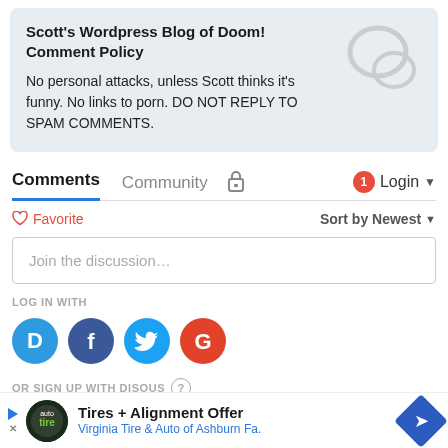Scott's Wordpress Blog of Doom! Comment Policy
No personal attacks, unless Scott thinks it's funny. No links to porn. DO NOT REPLY TO SPAM COMMENTS.
Comments  Community  Login
Favorite  Sort by Newest
Join the discussion…
LOG IN WITH
[Figure (logo): Social login icons: Disqus, Facebook, Twitter, Google]
OR SIGN UP WITH DISQUS
[Figure (infographic): Advertisement: Tires + Alignment Offer, Virginia Tire & Auto of Ashburn Fa.]